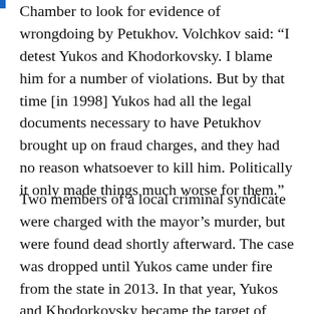Yukos successfully pushed the regional Audit Chamber to look for evidence of wrongdoing by Petukhov. Volchkov said: “I detest Yukos and Khodorkovsky. I blame him for a number of violations. But by that time [in 1998] Yukos had all the legal documents necessary to have Petukhov brought up on fraud charges, and they had no reason whatsoever to kill him. Politically it only made things much worse for them.”
Two members of a local criminal syndicate were charged with the mayor’s murder, but were found dead shortly afterward. The case was dropped until Yukos came under fire from the state in 2013. In that year, Yukos and Khodorkovsky became the target of what is generally considered a politically motivated